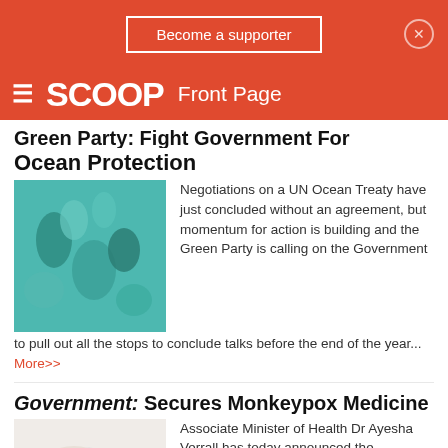Become a supporter
SCOOP Front Page
Green Party: Fight Government For Ocean Protection
Negotiations on a UN Ocean Treaty have just concluded without an agreement, but momentum for action is building and the Green Party is calling on the Government to pull out all the stops to conclude talks before the end of the year... More>>
Government: Secures Monkeypox Medicine
Associate Minister of Health Dr Ayesha Verrall has today announced the Government has secured monkeypox (MPX) medicine tecovirimat which is expected to be available in New Zealand from late September... More>>
Te Pati Maori: Welcome New Māori Speaker Of Parliament
Te Pāti Māori has...